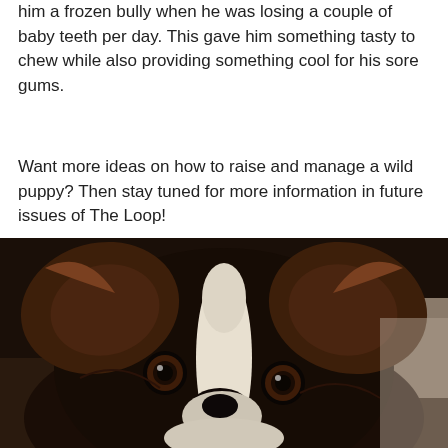him a frozen bully when he was losing a couple of baby teeth per day. This gave him something tasty to chew while also providing something cool for his sore gums.
Want more ideas on how to raise and manage a wild puppy? Then stay tuned for more information in future issues of The Loop!
[Figure (photo): Close-up photo of a brown and white border collie puppy with large fluffy ears, looking directly at the camera. The puppy has dark brown and white fur with a white stripe down its face and soulful brown eyes. Background shows a dark couch or sofa.]